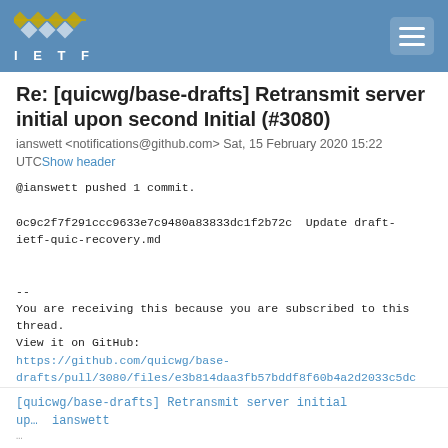IETF
Re: [quicwg/base-drafts] Retransmit server initial upon second Initial (#3080)
ianswett <notifications@github.com> Sat, 15 February 2020 15:22 UTCShow header
@ianswett pushed 1 commit.

0c9c2f7f291ccc9633e7c9480a83833dc1f2b72c  Update draft-ietf-quic-recovery.md


--
You are receiving this because you are subscribed to this thread.
View it on GitHub:
https://github.com/quicwg/base-drafts/pull/3080/files/e3b814daa3fb57bddf8f60b4a2d2033c5dc
[quicwg/base-drafts] Retransmit server initial up…  ianswett